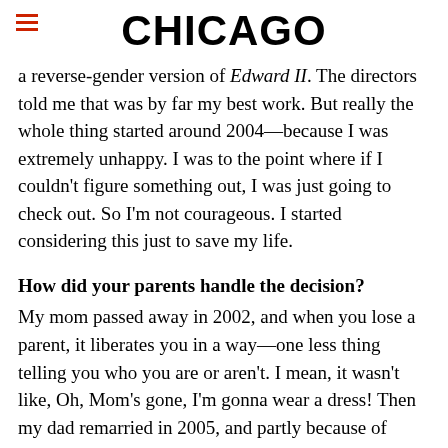CHICAGO
a reverse-gender version of Edward II. The directors told me that was by far my best work. But really the whole thing started around 2004—because I was extremely unhappy. I was to the point where if I couldn't figure something out, I was just going to check out. So I'm not courageous. I started considering this just to save my life.
How did your parents handle the decision?
My mom passed away in 2002, and when you lose a parent, it liberates you in a way—one less thing telling you who you are or aren't. I mean, it wasn't like, Oh, Mom's gone, I'm gonna wear a dress! Then my dad remarried in 2005, and partly because of